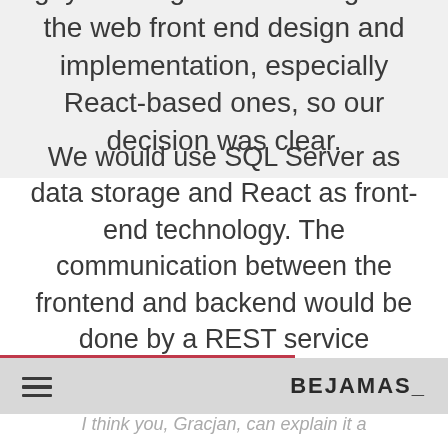guys have great knowledge on the web front end design and implementation, especially React-based ones, so our decision was clear.
We would use SQL Server as data storage and React as front-end technology. The communication between the frontend and backend would be done by a REST service implemented in C#.
BEJAMAS_
I think you, Gracjan, can explain it a